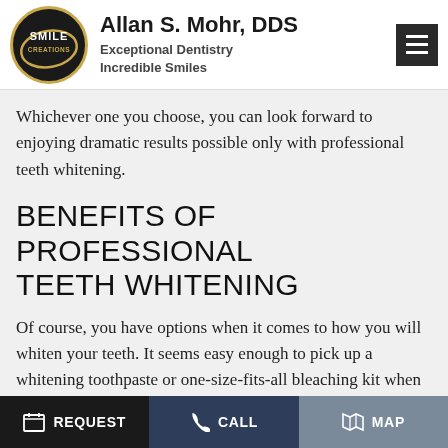Allan S. Mohr, DDS | Exceptional Dentistry | Incredible Smiles
Whichever one you choose, you can look forward to enjoying dramatic results possible only with professional teeth whitening.
BENEFITS OF PROFESSIONAL TEETH WHITENING
Of course, you have options when it comes to how you will whiten your teeth. It seems easy enough to pick up a whitening toothpaste or one-size-fits-all bleaching kit when you're at the grocery store, but are these solutions really worth it? In short, not really. While you may notice some whitening from over-the-counter
REQUEST | CALL | MAP